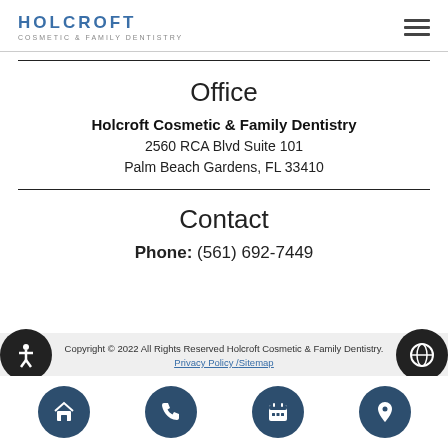HOLCROFT COSMETIC & FAMILY DENTISTRY
Office
Holcroft Cosmetic & Family Dentistry
2560 RCA Blvd Suite 101
Palm Beach Gardens, FL 33410
Contact
Phone: (561) 692-7449
Copyright © 2022 All Rights Reserved Holcroft Cosmetic & Family Dentistry. Privacy Policy / Sitemap